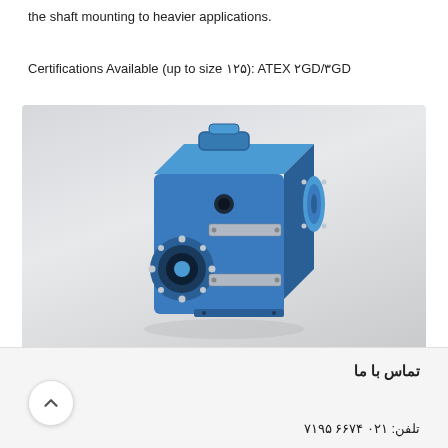the shaft mounting to heavier applications.
Certifications Available (up to size ۱۲۵): ATEX ۲GD/۳GD
[Figure (photo): Blue industrial gearbox / gear reducer unit with hollow shaft output and flange motor input, shown in a 3D rendered product photo on a grey gradient background.]
تماس با ما
تلفن: ۰۲۱ ۶۶۷۴ ۷۱۹۵